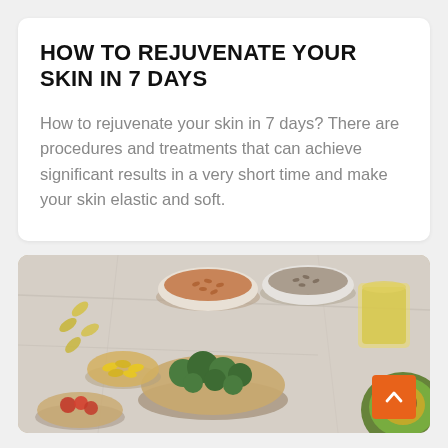HOW TO REJUVENATE YOUR SKIN IN 7 DAYS
How to rejuvenate your skin in 7 days? There are procedures and treatments that can achieve significant results in a very short time and make your skin elastic and soft.
[Figure (photo): Overhead photo of various healthy foods and supplements on a white marble surface, including bowls of seeds and grains, broccoli, avocado, capsules, and a glass of oil.]